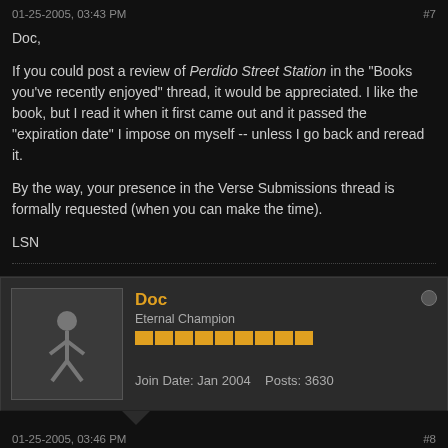01-25-2005, 03:43 PM  #7
Doc,

If you could post a review of Perdido Street Station in the "Books you've recently enjoyed" thread, it would be appreciated. I like the book, but I read it when it first came out and it passed the "expiration date" I impose on myself -- unless I go back and reread it.

By the way, your presence in the Verse Submissions thread is formally requested (when you can make the time).

LSN
Doc
Eternal Champion
Join Date: Jan 2004  Posts: 3630
01-25-2005, 03:46 PM  #8
Hi LSN! I will do both in the very near future (within a couple of days). I was out of town for a couple of weeks, which put me behind at work, but I'm nearly caught up. Time has magically started reappearing for me.